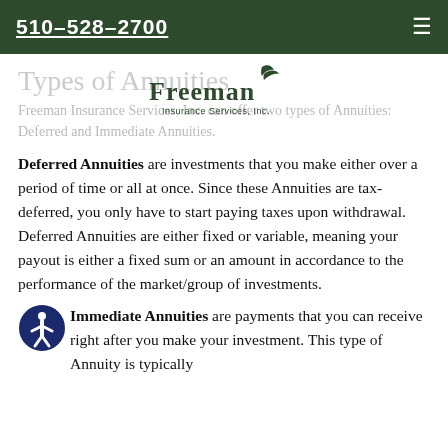510-528-2700
[Figure (logo): Freeman Insurance Services, Inc. logo with bird graphic]
Types of Annuities
Freeman Insurance Services, Inc. can offer two types of Annuities: Deferred and Immediate Annuities.
Deferred Annuities are investments that you make either over a period of time or all at once. Since these Annuities are tax-deferred, you only have to start paying taxes upon withdrawal. Deferred Annuities are either fixed or variable, meaning your payout is either a fixed sum or an amount in accordance to the performance of the market/group of investments.
Immediate Annuities are payments that you can receive right after you make your investment. This type of Annuity is typically